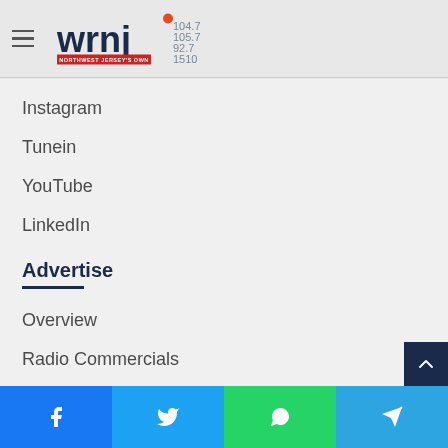WRNJ 104.7 105.7 92.7 1510 Northwest Jersey's Own
Instagram
Tunein
YouTube
LinkedIn
Advertise
Overview
Radio Commercials
Digital Advertising